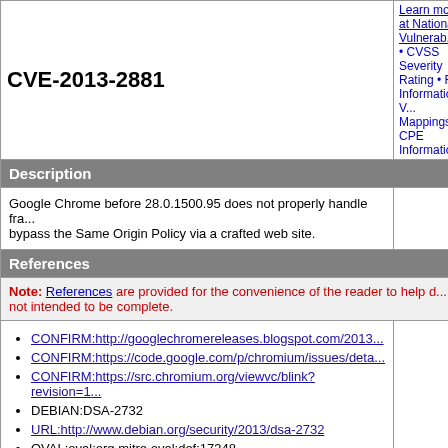CVE-2013-2881
Learn more at National Vulnerab... • CVSS Severity Rating • Fix Information • V... Mappings • CPE Information
Description
Google Chrome before 28.0.1500.95 does not properly handle fra... bypass the Same Origin Policy via a crafted web site.
References
Note: References are provided for the convenience of the reader to help d... not intended to be complete.
CONFIRM:http://googlechromereleases.blogspot.com/2013...
CONFIRM:https://code.google.com/p/chromium/issues/deta...
CONFIRM:https://src.chromium.org/viewvc/blink?revision=1...
DEBIAN:DSA-2732
URL:http://www.debian.org/security/2013/dsa-2732
OVAL:oval:org.mitre.oval:def:17348
URL:https://oval.cisecurity.org/repository/search/definition/o...
Assigning CNA
Chrome
Date Record Created
20130811
Disclaimer: The record creation date...